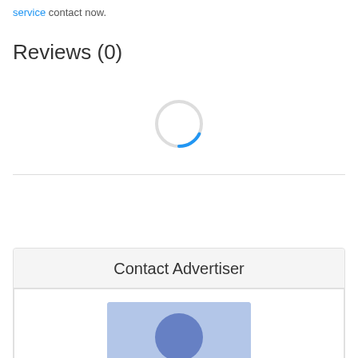service contact now.
Reviews (0)
[Figure (other): Loading spinner — a circular spinner with a blue arc segment on a light gray circle, indicating content is loading.]
Login to write review
Contact Advertiser
[Figure (illustration): Generic user avatar placeholder — a blue-purple square with a circle (head) and partial arc (shoulders) in a darker blue-purple.]